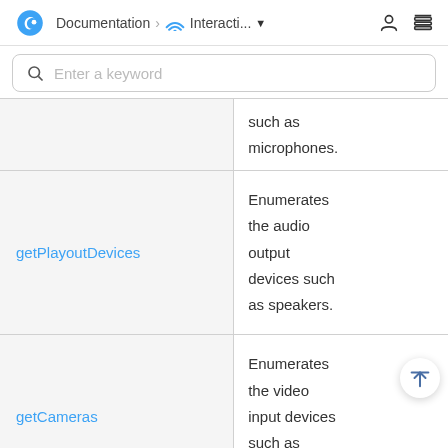Documentation > Interacti...
Enter a keyword
| Method | Description |
| --- | --- |
|  | such as microphones. |
| getPlayoutDevices | Enumerates the audio output devices such as speakers. |
| getCameras | Enumerates the video input devices such as cameras. |